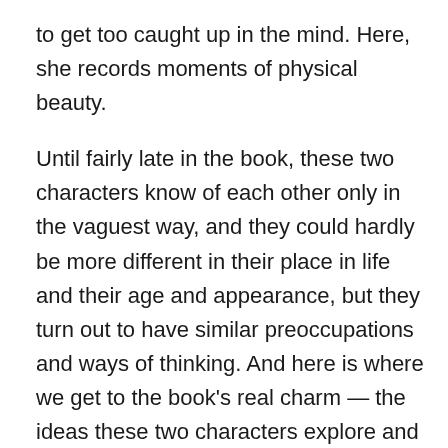to get too caught up in the mind. Here, she records moments of physical beauty.

Until fairly late in the book, these two characters know of each other only in the vaguest way, and they could hardly be more different in their place in life and their age and appearance, but they turn out to have similar preoccupations and ways of thinking. And here is where we get to the book's real charm — the ideas these two characters explore and the meaning they try to make out of life. This is really a philosophical novel about the quest to understand how best to live, how to make meaning and find beauty, and how to reconcile the coexistence of beauty and suffering. What makes these ideas so interesting is that you come to care about the people thinking them — over the course of the novel their